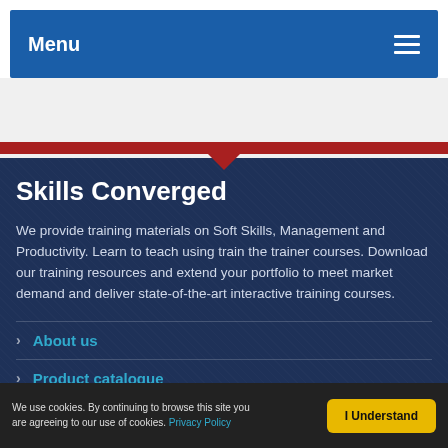Menu
Skills Converged
We provide training materials on Soft Skills, Management and Productivity. Learn to teach using train the trainer courses. Download our training resources and extend your portfolio to meet market demand and deliver state-of-the-art interactive training courses.
About us
Product catalogue
We use cookies. By continuing to browse this site you are agreeing to our use of cookies. Privacy Policy